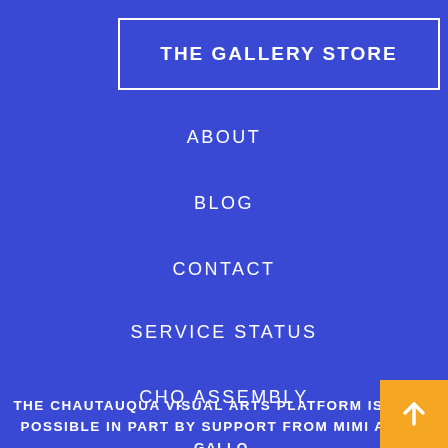THE GALLERY STORE
ABOUT
BLOG
CONTACT
SERVICE STATUS
CHQ ASSEMBLY
THE CHAUTAUQUA VISUAL ARTS PLATFORM IS MADE POSSIBLE IN PART BY SUPPORT FROM MIMI AND J. GALLO.
[Figure (other): Orange arrow button pointing upward in the bottom-right corner]